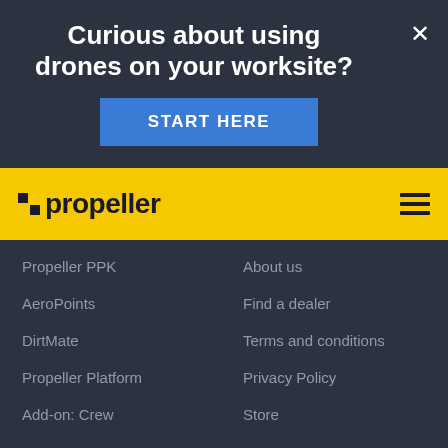Curious about using drones on your worksite?
START HERE
[Figure (logo): Propeller logo on yellow navigation bar with hamburger menu icon]
Propeller PPK
AeroPoints
DirtMate
Propeller Platform
Add-on: Crew
About us
Find a dealer
Terms and conditions
Privacy Policy
Store
Industries